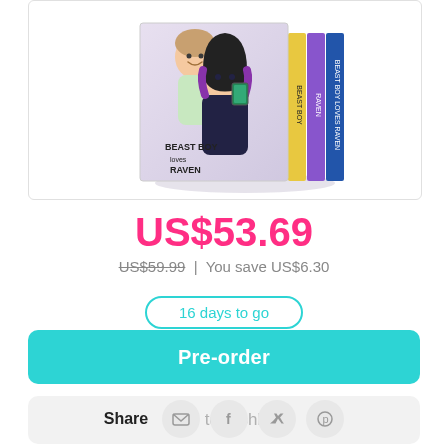[Figure (illustration): Box set of 'Beast Boy Loves Raven' graphic novel collection showing two characters — a young man and a young woman with purple-tipped black hair — on the cover, with three book spines visible on the right side.]
US$53.69
US$59.99 | You save US$6.30
16 days to go
Pre-order
Add to wishlist
Share